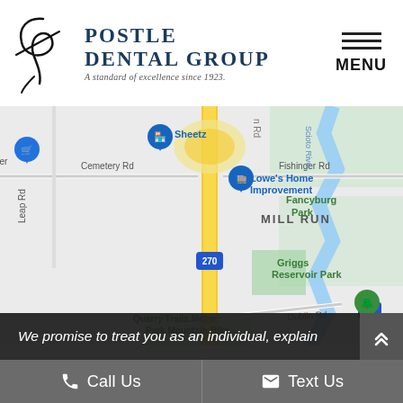[Figure (logo): Postle Dental Group logo with stylized P script, text 'POSTLE DENTAL GROUP' and tagline 'A standard of excellence since 1923.']
[Figure (map): Google Maps screenshot showing Mill Run area in Columbus Ohio, featuring Sheetz, Lowe's Home Improvement, Fancyburg Park, Griggs Reservoir Park, Quarry Trails Metro Park, Interstate 270, Route 33, Cemetery Rd, Fishinger Rd, Dublin Rd, Leap Rd.]
We promise to treat you as an individual, explain
Call Us
Text Us